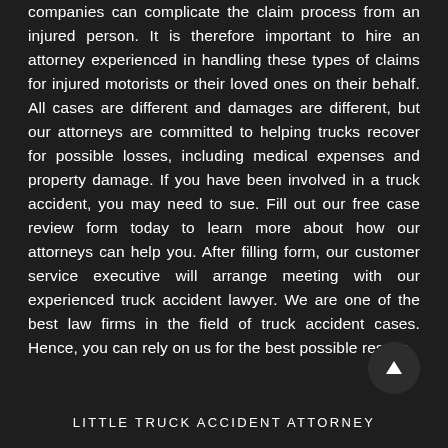companies can complicate the claim process from an injured person. It is therefore important to hire an attorney experienced in handling these types of claims for injured motorists or their loved ones on their behalf. All cases are different and damages are different, but our attorneys are committed to helping trucks recover for possible losses, including medical expenses and property damage. If you have been involved in a truck accident, you may need to sue. Fill out our free case review form today to learn more about how our attorneys can help you. After filling form, our customer service executive will arrange meeting with our experienced truck accident lawyer. We are one of the best law firms in the field of truck accident cases. Hence, you can rely on us for the best possible results.
LITTLE TRUCK ACCIDENT ATTORNEY